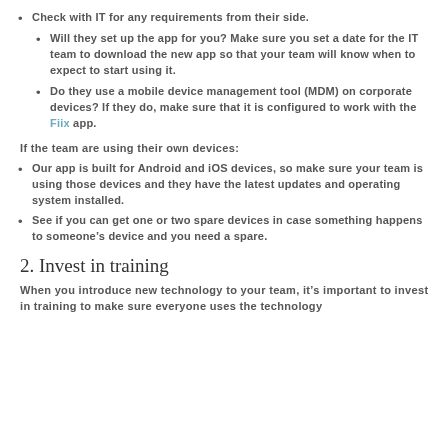Check with IT for any requirements from their side.
Will they set up the app for you? Make sure you set a date for the IT team to download the new app so that your team will know when to expect to start using it.
Do they use a mobile device management tool (MDM) on corporate devices? If they do, make sure that it is configured to work with the Fiix app.
If the team are using their own devices:
Our app is built for Android and iOS devices, so make sure your team is using those devices and they have the latest updates and operating system installed.
See if you can get one or two spare devices in case something happens to someone's device and you need a spare.
2. Invest in training
When you introduce new technology to your team, it's important to invest in training to make sure everyone uses the technology